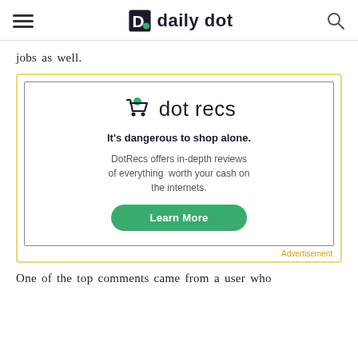daily dot
jobs as well.
[Figure (other): DotRecs advertisement with shopping cart logo, tagline 'It's dangerous to shop alone.', body text 'DotRecs offers in-depth reviews of everything worth your cash on the internets.', and a green 'Learn More' button.]
Advertisement
One of the top comments came from a user who